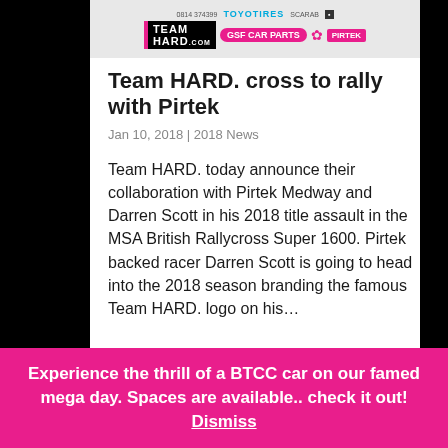[Figure (logo): Team HARD. racing banner with TOYO TIRES, GSF CAR PARTS, and PIRTEK sponsor logos]
Team HARD. cross to rally with Pirtek
Jan 10, 2018 | 2018 News
Team HARD. today announce their collaboration with Pirtek Medway and Darren Scott in his 2018 title assault in the MSA British Rallycross Super 1600. Pirtek backed racer Darren Scott is going to head into the 2018 season branding the famous Team HARD. logo on his…
Experience the thrill of a BTCC car on our famed mega day. Spaces are available.. check it out! Dismiss